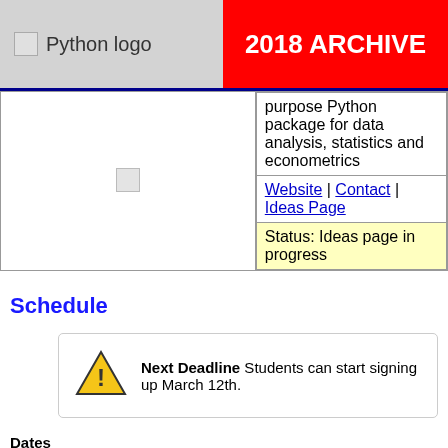Python logo | 2018 ARCHIVE
| [image] | purpose Python package for data analysis, statistics and econometrics |
|  | Website | Contact | Ideas Page |
|  | Status: Ideas page in progress |
Schedule
Next Deadline Students can start signing up March 12th.
Dates